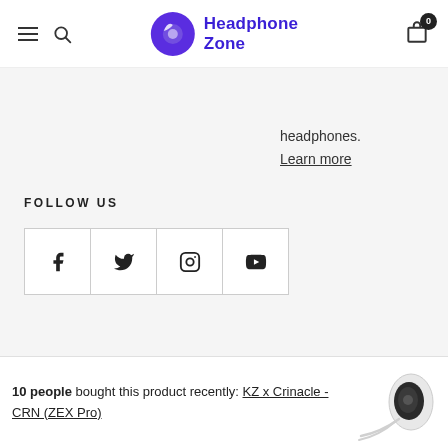Headphone Zone
headphones.
Learn more
FOLLOW US
[Figure (infographic): Social media icons: Facebook, Twitter, Instagram, YouTube in bordered square boxes]
Owned, Operated & Funded by Proud Indians
Copyright ©2011-2022 Headphone Zone.
10 people bought this product recently: KZ x Crinacle - CRN (ZEX Pro)